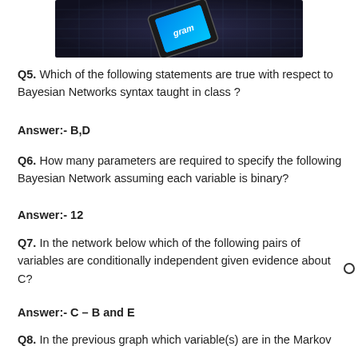[Figure (photo): Top portion of a photo showing a smartphone/tablet device with a blue screen on a dark background with a world map grid overlay. The word 'gram' is partially visible on the blue screen.]
Q5. Which of the following statements are true with respect to Bayesian Networks syntax taught in class ?
Answer:- B,D
Q6. How many parameters are required to specify the following Bayesian Network assuming each variable is binary?
Answer:- 12
Q7. In the network below which of the following pairs of variables are conditionally independent given evidence about C?
Answer:- C – B and E
Q8. In the previous graph which variable(s) are in the Markov